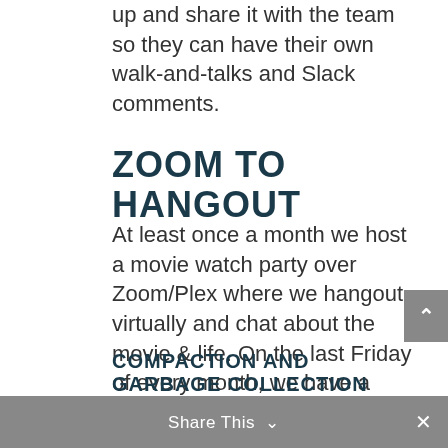up and share it with the team so they can have their own walk-and-talks and Slack comments.
ZOOM TO HANGOUT
At least once a month we host a movie watch party over Zoom/Plex where we hangout virtually and chat about the movie & life. On the last Friday of every month, we have a Zoom Happy Hour to talk about things we are passionate about. As an extrovert, I do long for human interaction and teams do need to look at each other and let each other know how much they value one another. Those activities do not require PowerPoint, though.
Share This ∨  ×
COMPACTION AND GARBAGE COLLECTION